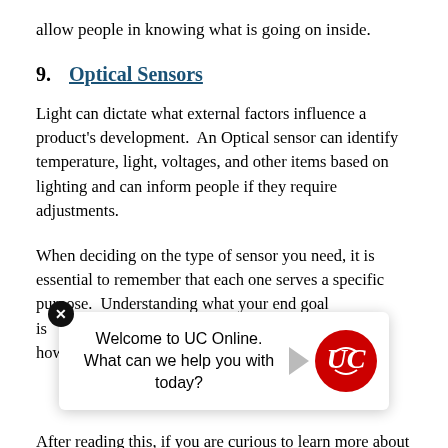allow people in knowing what is going on inside.
9.    Optical Sensors
Light can dictate what external factors influence a product's development.  An Optical sensor can identify temperature, light, voltages, and other items based on lighting and can inform people if they require adjustments.
When deciding on the type of sensor you need, it is essential to remember that each one serves a specific purpose.  Understanding what your end goal is                                                 precisely how to
After reading this, if you are curious to learn more about a specific sensor, or you would like to